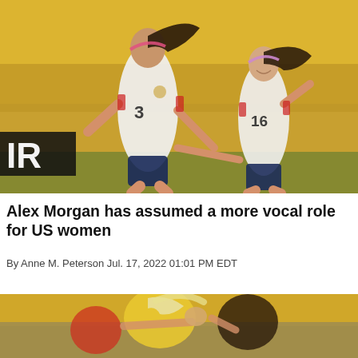[Figure (photo): Two US women's soccer players in white jerseys with numbers 3 and 16, running and holding hands on a soccer field with yellow stadium seats in the background.]
Alex Morgan has assumed a more vocal role for US women
By Anne M. Peterson Jul. 17, 2022 01:01 PM EDT
[Figure (photo): Soccer players in a physical challenge, with one player in yellow and another in dark jersey, partially visible at the bottom of the page.]